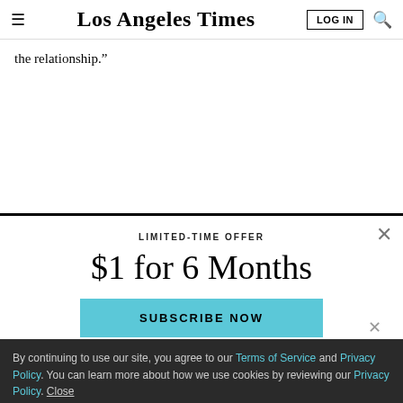Los Angeles Times
the relationship.”
LIMITED-TIME OFFER
$1 for 6 Months
SUBSCRIBE NOW
By continuing to use our site, you agree to our Terms of Service and Privacy Policy. You can learn more about how we use cookies by reviewing our Privacy Policy. Close